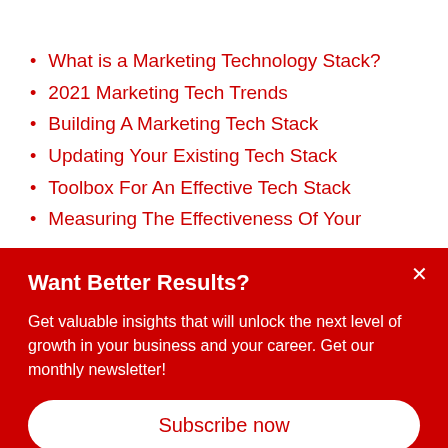What is a Marketing Technology Stack?
2021 Marketing Tech Trends
Building A Marketing Tech Stack
Updating Your Existing Tech Stack
Toolbox For An Effective Tech Stack
Measuring The Effectiveness Of Your
Want Better Results?
Get valuable insights that will unlock the next level of growth in your business and your career. Get our monthly newsletter!
Subscribe now